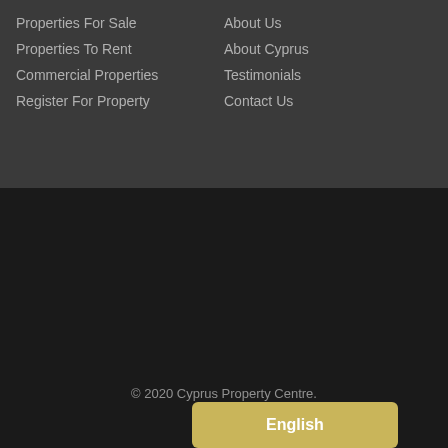Properties For Sale
Properties To Rent
Commercial Properties
Register For Property
About Us
About Cyprus
Testimonials
Contact Us
© 2020 Cyprus Property Centre.
Company registration number HE365459
Estate Agent Websites by Property Web Design Pro
English